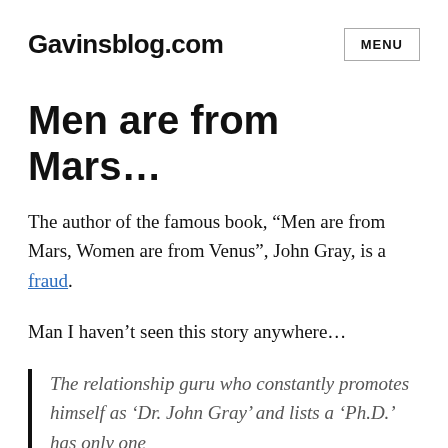Gavinsblog.com
Men are from Mars…
The author of the famous book, “Men are from Mars, Women are from Venus”, John Gray, is a fraud.
Man I haven’t seen this story anywhere…
The relationship guru who constantly promotes himself as ‘Dr. John Gray’ and lists a ‘Ph.D.’ has only one